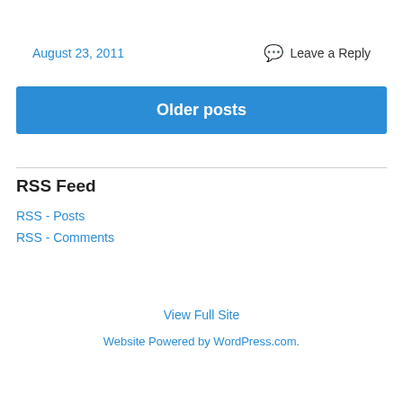August 23, 2011
Leave a Reply
Older posts
RSS Feed
RSS - Posts
RSS - Comments
View Full Site
Website Powered by WordPress.com.